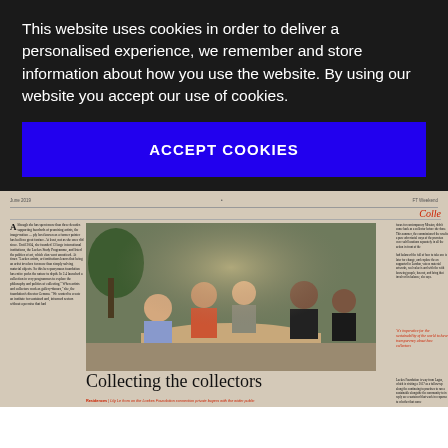This website uses cookies in order to deliver a personalised experience, we remember and store information about how you use the website. By using our website you accept our use of cookies.
ACCEPT COOKIES
[Figure (screenshot): Screenshot of a newspaper article page showing a photo of people sitting around a table in discussion, with text columns on the left and right. The article headline reads 'Collecting the collectors' and a red subtitle references Lily Le from the Loekes Foundation connecting private buyers with the wider public.]